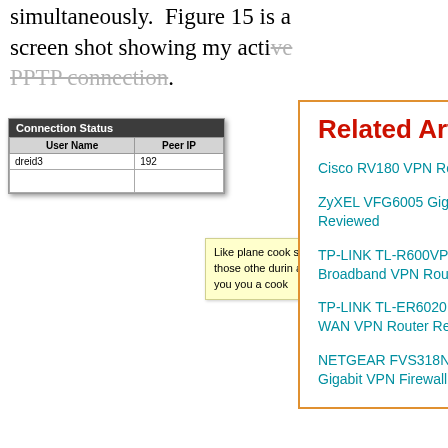simultaneously.  Figure 15 is a screen shot showing my active PPTP connection.
[Figure (screenshot): Connection Status table showing User Name 'dreid3' and Peer IP '192...' columns]
I had one issued the same IP a adjusting t clients on
Like plane cook statu adm those othe durin adve contr If you you a cook
VPN Pe
I tested th using defa size of 8K
[Figure (screenshot): Related Articles popup with orange border listing: Cisco RV180 VPN Router Reviewed; ZyXEL VFG6005 Gigabit VPN Firewall Gateway Reviewed; TP-LINK TL-R600VPN SafeStream Gigabit Broadband VPN Router Reviewed; TP-LINK TL-ER6020 SafeStream Gigabit Dual-WAN VPN Router Reviewed; NETGEAR FVS318N ProSafe Wireless-N 8-port Gigabit VPN Firewall Reviewed]